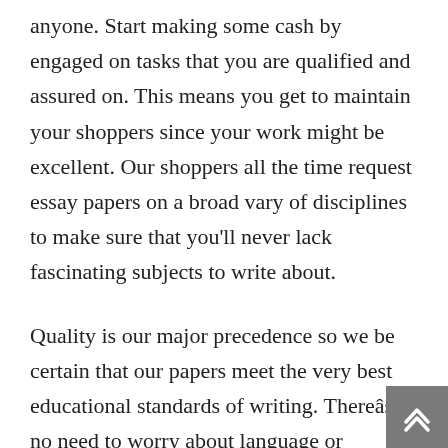anyone. Start making some cash by engaged on tasks that you are qualified and assured on. This means you get to maintain your shoppers since your work might be excellent. Our shoppers all the time request essay papers on a broad vary of disciplines to make sure that you'll never lack fascinating subjects to write about.
Quality is our major precedence so we be certain that our papers meet the very best educational standards of writing. Thereâs no need to worry about language or structure if you hire essay writer on WriteMyPapers.org. That makes excellent sense and can permit you to chill out about how examiners will react to your final submission. Professional writers produce papers for examination often so understand the need for clarity, and a straightforward to read a submission to examiners. Writing is a minor requirement so in case you are requested to write my term paper for me on a technical subject, do not be stunned.